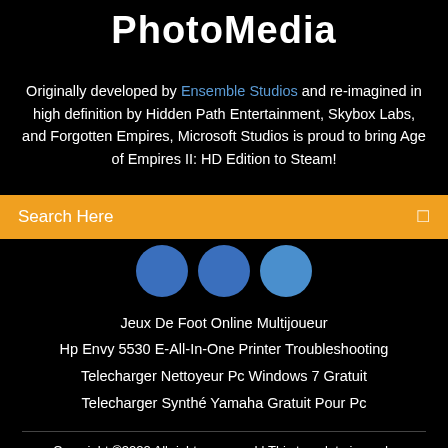PhotoMedia
Originally developed by Ensemble Studios and re-imagined in high definition by Hidden Path Entertainment, Skybox Labs, and Forgotten Empires, Microsoft Studios is proud to bring Age of Empires II: HD Edition to Steam!
Search Here
[Figure (illustration): Three partially visible blue circles side by side against black background]
Jeux De Foot Online Multijoueur
Hp Envy 5530 E-All-In-One Printer Troubleshooting
Telecharger Nettoyeur Pc Windows 7 Gratuit
Telecharger Synthé Yamaha Gratuit Pour Pc
Copyright ©2022 All rights reserved | This template is made